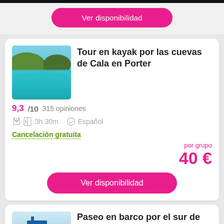Ver disponibilidad
[Figure (photo): Kayak tour scenic photo showing turquoise water and rocky cliffs at Cala en Porter]
Tour en kayak por las cuevas de Cala en Porter
9,3 / 10  315 opiniones
3h 30m  Español
Cancelación gratuita
por grupo 40 €
Ver disponibilidad
[Figure (photo): Boat cruise photo showing a blue tourist boat on calm sea]
Paseo en barco por el sur de Menorca desde